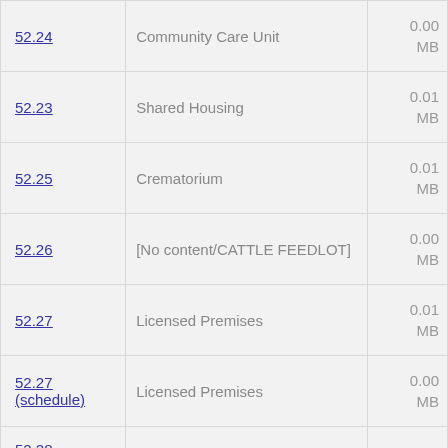| ID | Name | Size |
| --- | --- | --- |
| 52.24 | Community Care Unit | 0.00 MB |
| 52.23 | Shared Housing | 0.01 MB |
| 52.25 | Crematorium | 0.01 MB |
| 52.26 | [No content/CATTLE FEEDLOT] | 0.00 MB |
| 52.27 | Licensed Premises | 0.01 MB |
| 52.27 (schedule) | Licensed Premises | 0.00 MB |
| 52.28 (schedule) | Gaming | 0.01 MB |